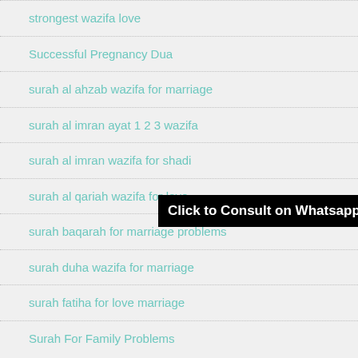strongest wazifa love
Successful Pregnancy Dua
surah al ahzab wazifa for marriage
surah al imran ayat 1 2 3 wazifa
surah al imran wazifa for shadi
surah al qariah wazifa for love
surah baqarah for marriage problems
surah duha wazifa for marriage
surah fatiha for love marriage
Surah For Family Problems
Click to Consult on Whatsapp